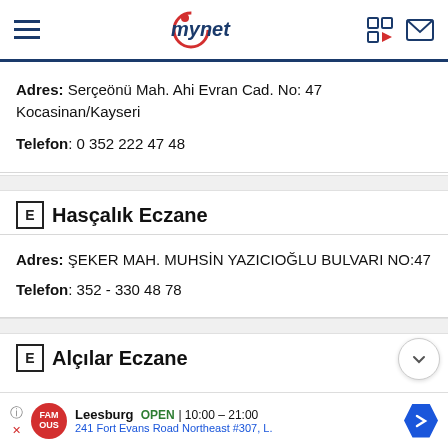mynet
Adres: Serçeönü Mah. Ahi Evran Cad. No: 47 Kocasinan/Kayseri
Telefon: 0 352 222 47 48
E  Hasçalık Eczane
Adres: ŞEKER MAH. MUHSİN YAZICIOĞLU BULVARI NO:47
Telefon: 352 - 330 48 78
E  Alçılar Eczane
Leesburg  OPEN  10:00 – 21:00  241 Fort Evans Road Northeast #307, L.